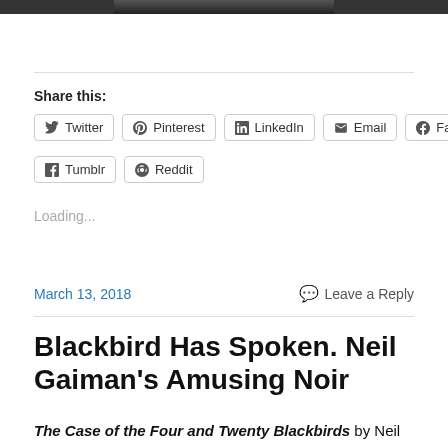[Figure (photo): Partial top edge of a dark image, likely a book cover]
Share this:
Twitter  Pinterest  LinkedIn  Email  Facebook  Tumblr  Reddit
Loading...
March 13, 2018
Leave a Reply
Blackbird Has Spoken. Neil Gaiman's Amusing Noir
The Case of the Four and Twenty Blackbirds  by Neil